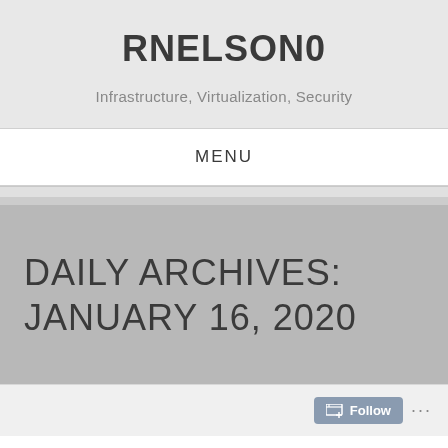RNELSON0
Infrastructure, Virtualization, Security
MENU
DAILY ARCHIVES: JANUARY 16, 2020
Follow